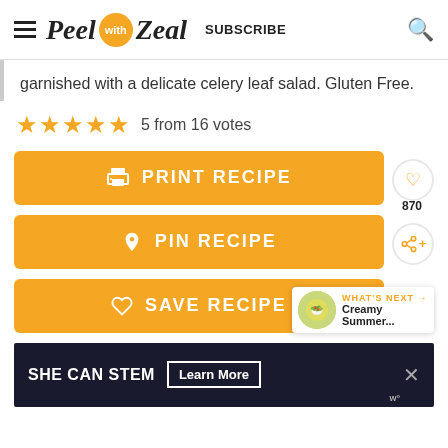Peel with Zeal  SUBSCRIBE
garnished with a delicate celery leaf salad. Gluten Free.
5 from 16 votes
[Figure (screenshot): PRINT RECIPE button in orange with printer icon and heart icon on the right, showing count 870]
[Figure (screenshot): PIN RECIPE button in orange with Pinterest icon and share icon on the right]
[Figure (screenshot): SAVE RECIPE button in orange with heart/bookmark icon, and a 'WHAT'S NEXT' overlay showing 'Creamy Summer...']
[Figure (screenshot): Ad banner: SHE CAN STEM with Learn More button on dark background]